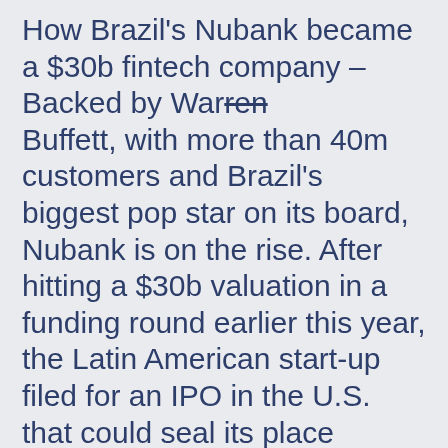How Brazil's Nubank became a $30b fintech company - Backed by Warren Buffett, with more than 40m customers and Brazil's biggest pop star on its board, Nubank is on the rise. After hitting a $30b valuation in a funding round earlier this year, the Latin American start-up filed for an IPO in the U.S. that could seal its place among the world's hottest financial technology companies.
Read more
AmEx gets younger, more blue collar - AmEx said that card acquisitions hit a record level in the third quarter for